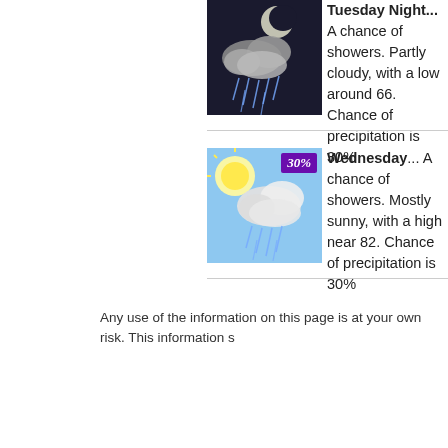[Figure (illustration): Night weather icon showing clouds with rain falling against dark background]
Tuesday Night... A chance of showers. Partly cloudy, with a low around 66. Chance of precipitation is 30%.
[Figure (illustration): Daytime weather icon showing sun with clouds and rain, 30% precipitation badge in purple top-right corner]
Wednesday... A chance of showers. Mostly sunny, with a high near 82. Chance of precipitation is 30%.
Any use of the information on this page is at your own risk. This information s...